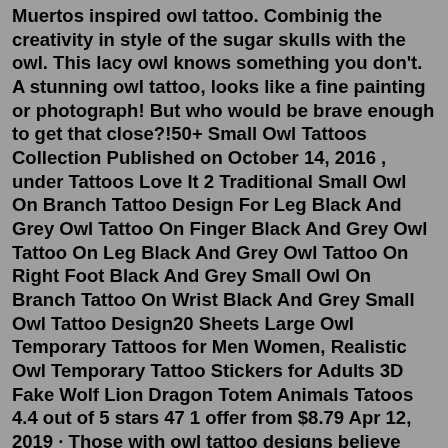Muertos inspired owl tattoo. Combinig the creativity in style of the sugar skulls with the owl. This lacy owl knows something you don't. A stunning owl tattoo, looks like a fine painting or photograph! But who would be brave enough to get that close?!50+ Small Owl Tattoos Collection Published on October 14, 2016 , under Tattoos Love It 2 Traditional Small Owl On Branch Tattoo Design For Leg Black And Grey Owl Tattoo On Finger Black And Grey Owl Tattoo On Leg Black And Grey Owl Tattoo On Right Foot Black And Grey Small Owl On Branch Tattoo On Wrist Black And Grey Small Owl Tattoo Design20 Sheets Large Owl Temporary Tattoos for Men Women, Realistic Owl Temporary Tattoo Stickers for Adults 3D Fake Wolf Lion Dragon Totem Animals Tatoos 4.4 out of 5 stars 47 1 offer from $8.79 Apr 12, 2019 · Those with owl tattoo designs believe that owls symbolize a light that shines through the darkest of times because they are the epitome of vision and hope. Owl tattoos are meaningful and are both attractive and unique. This